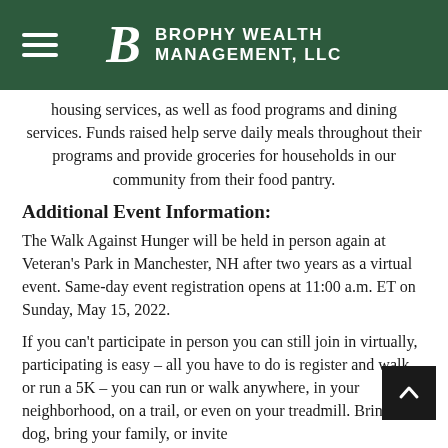Brophy Wealth Management, LLC
housing services, as well as food programs and dining services. Funds raised help serve daily meals throughout their programs and provide groceries for households in our community from their food pantry.
Additional Event Information:
The Walk Against Hunger will be held in person again at Veteran's Park in Manchester, NH after two years as a virtual event. Same-day event registration opens at 11:00 a.m. ET on Sunday, May 15, 2022.
If you can't participate in person you can still join in virtually, participating is easy – all you have to do is register and walk or run a 5K – you can run or walk anywhere, in your neighborhood, on a trail, or even on your treadmill. Bring your dog, bring your family, or invite